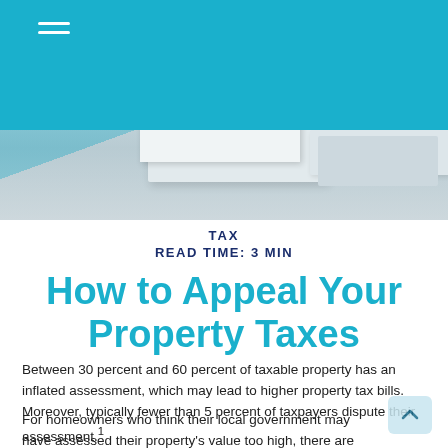[Figure (photo): Teal/cyan navigation bar at top with hamburger menu icon, with a photo strip below showing books or documents on a desk surface in muted blue-grey tones]
TAX
READ TIME: 3 MIN
How to Appeal Your Property Taxes
Between 30 percent and 60 percent of taxable property has an inflated assessment, which may lead to higher property tax bills. Moreover, typically fewer than 5 percent of taxpayers dispute their assessment.¹
For homeowners who think their local government may have assessed their property's value too high, there are ways to appeal and potentially win a lower assessment, which may save hundreds or even thousands of dollars annually in future taxes.²